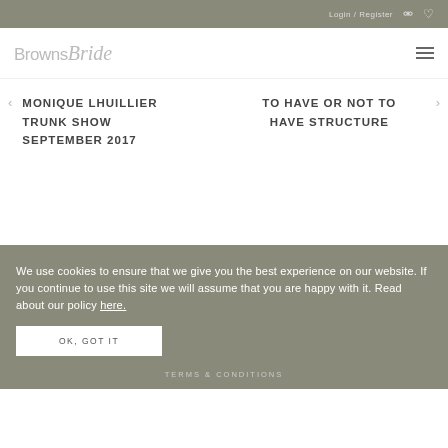Login / Register
[Figure (logo): Browns Bride logo in grey script and sans-serif text]
MONIQUE LHUILLIER TRUNK SHOW SEPTEMBER 2017
TO HAVE OR NOT TO HAVE STRUCTURE
We use cookies to ensure that we give you the best experience on our website. If you continue to use this site we will assume that you are happy with it. Read about our policy here.
OK, GOT IT
TERMS & CONDITIONS